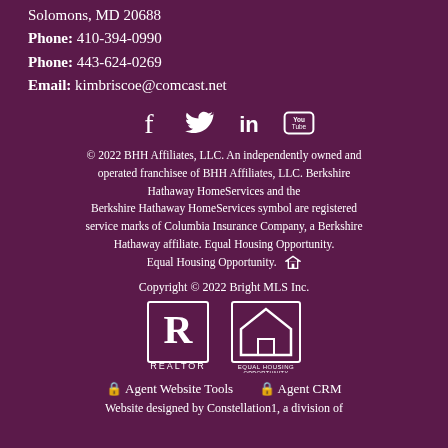Solomons, MD 20688
Phone: 410-394-0990
Phone: 443-624-0269
Email: kimbriscoe@comcast.net
[Figure (infographic): Social media icons: Facebook, Twitter, LinkedIn, YouTube]
© 2022 BHH Affiliates, LLC. An independently owned and operated franchisee of BHH Affiliates, LLC. Berkshire Hathaway HomeServices and the Berkshire Hathaway HomeServices symbol are registered service marks of Columbia Insurance Company, a Berkshire Hathaway affiliate. Equal Housing Opportunity. Equal Housing Opportunity.
Copyright © 2022 Bright MLS Inc.
[Figure (logo): Realtor logo and Equal Housing Opportunity logo]
Agent Website Tools  Agent CRM
Website designed by Constellation1, a division of